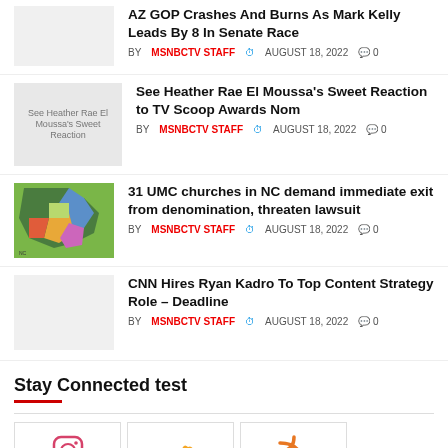AZ GOP Crashes And Burns As Mark Kelly Leads By 8 In Senate Race
BY MSNBCTV STAFF  AUGUST 18, 2022  0
See Heather Rae El Moussa's Sweet Reaction to TV Scoop Awards Nom
BY MSNBCTV STAFF  AUGUST 18, 2022  0
31 UMC churches in NC demand immediate exit from denomination, threaten lawsuit
BY MSNBCTV STAFF  AUGUST 18, 2022  0
CNN Hires Ryan Kadro To Top Content Strategy Role – Deadline
BY MSNBCTV STAFF  AUGUST 18, 2022  0
Stay Connected test
[Figure (illustration): Social media icons row: Instagram, SoundCloud, RSS feed]